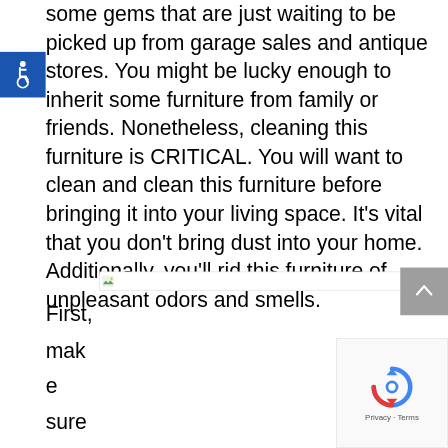some gems that are just waiting to be picked up from garage sales and antique stores. You might be lucky enough to inherit some furniture from family or friends. Nonetheless, cleaning this furniture is CRITICAL. You will want to clean and clean this furniture before bringing it into your living space. It's vital that you don't bring dust into your home. Additionally, you'll rid this furniture of unpleasant odors and smells.
[Figure (illustration): Blue accessibility wheelchair icon on dark blue square background]
[Figure (photo): Broken/missing image placeholder with green landscape icon in top-left corner]
[Figure (other): Gray scroll-to-top button with upward arrow chevron]
First, make sure that the
[Figure (other): Google reCAPTCHA widget showing spinning arrows logo and Privacy - Terms text]